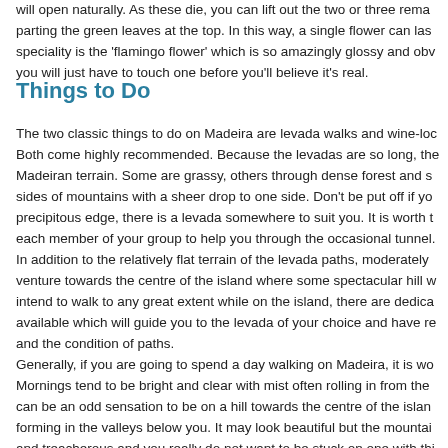will open naturally. As these die, you can lift out the two or three rema parting the green leaves at the top. In this way, a single flower can las speciality is the 'flamingo flower' which is so amazingly glossy and obv you will just have to touch one before you'll believe it's real.
Things to Do
The two classic things to do on Madeira are levada walks and wine-loc Both come highly recommended. Because the levadas are so long, the Madeiran terrain. Some are grassy, others through dense forest and s sides of mountains with a sheer drop to one side. Don't be put off if yo precipitous edge, there is a levada somewhere to suit you. It is worth t each member of your group to help you through the occasional tunnel.
In addition to the relatively flat terrain of the levada paths, moderately venture towards the centre of the island where some spectacular hill w intend to walk to any great extent while on the island, there are dedica available which will guide you to the levada of your choice and have re and the condition of paths.
Generally, if you are going to spend a day walking on Madeira, it is wo Mornings tend to be bright and clear with mist often rolling in from the can be an odd sensation to be on a hill towards the centre of the islan forming in the valleys below you. It may look beautiful but the mountai and treacherous and you really do not want to be stuck on one with thi A quick guide is that if the Desertas are barely visible, or quite hazy wi